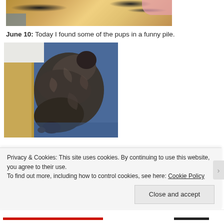[Figure (photo): Top portion of a dog photo showing fur (orange/golden coloring) with dark areas and a pink element in upper right corner, partially cropped]
June 10: Today I found some of the pups in a funny pile.
[Figure (photo): Dark brown/grey puppies piled together on a blue blanket, viewed from above]
Privacy & Cookies: This site uses cookies. By continuing to use this website, you agree to their use.
To find out more, including how to control cookies, see here: Cookie Policy
Close and accept